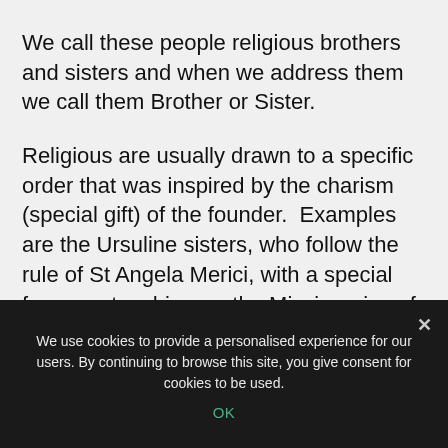We call these people religious brothers and sisters and when we address them we call them Brother or Sister.
Religious are usually drawn to a specific order that was inspired by the charism (special gift) of the founder.  Examples are the Ursuline sisters, who follow the rule of St Angela Merici, with a special focus on teaching; or the Missionaries of Charity founded by St Teresa of Kolkata who focus on charity and
We use cookies to provide a personalised experience for our users. By continuing to browse this site, you give consent for cookies to be used.
OK